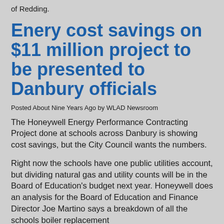of Redding.
Enery cost savings on $11 million project to be presented to Danbury officials
Posted About Nine Years Ago by WLAD Newsroom
The Honeywell Energy Performance Contracting Project done at schools across Danbury is showing cost savings, but the City Council wants the numbers.
Right now the schools have one public utilities account, but dividing natural gas and utility counts will be in the Board of Education's budget next year. Honeywell does an analysis for the Board of Education and Finance Director Joe Martino says a breakdown of all the schools boiler replacement